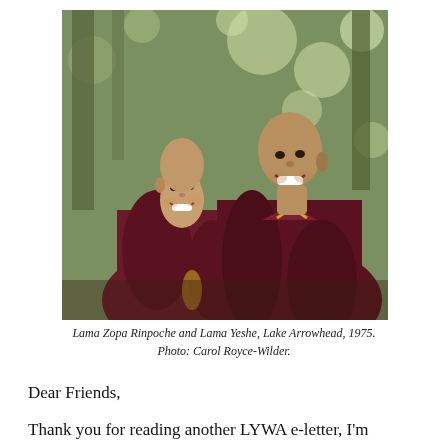[Figure (photo): Two smiling Buddhist monks in dark maroon robes, photographed outdoors with blurred green trees in the background. The monk on the left is younger and shorter, the monk on the right is taller. Both are laughing warmly.]
Lama Zopa Rinpoche and Lama Yeshe, Lake Arrowhead, 1975. Photo: Carol Royce-Wilder.
Dear Friends,
Thank you for reading another LYWA e-letter, I'm